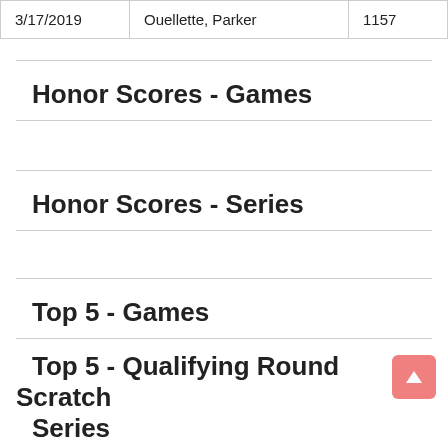| Date | Name | Score |
| --- | --- | --- |
| 3/17/2019 | Ouellette, Parker | 1157 |
Honor Scores - Games
Honor Scores - Series
Top 5 - Games
Top 5 - Qualifying Round Scratch Series